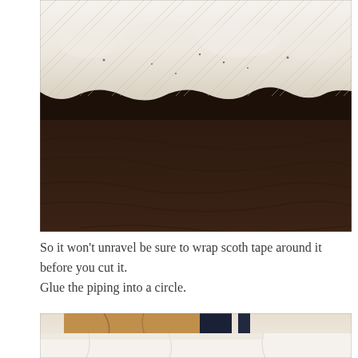[Figure (photo): Close-up photo showing a roll of white quilted or fibrous material (possibly batting or padding with a diamond/crosshatch stitch pattern) against a dark brown wooden surface. The white fluffy material occupies the upper half of the image and the dark wood grain fills the lower half.]
So it won't unravel be sure to wrap scoth tape around it before you cut it.
Glue the piping into a circle.
[Figure (photo): Partial photo showing fabric materials — tan/brown leather-like fabric and dark navy fabric strips, with white/cream fabric visible below, on a light background.]